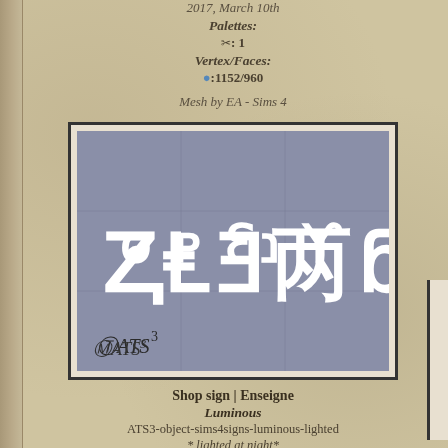2017, March 10th
Palettes:
✂: 1
Vertex/Faces:
:1152/960
Mesh by EA - Sims 4
[Figure (illustration): Shop sign texture preview on grey tiled background with fantasy script letters and ATS3 logo watermark]
Shop sign | Enseigne
Luminous
ATS3-object-sims4signs-luminous-lighted
* lighted at night*